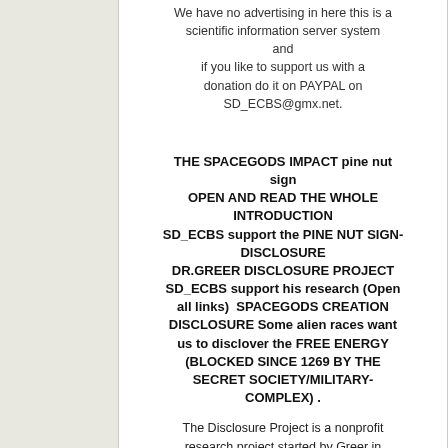We have no advertising in here this is a scientific information server system and if you like to support us with a donation do it on PAYPAL on SD_ECBS@gmx.net.
THE SPACEGODS IMPACT pine nut sign OPEN AND READ THE WHOLE INTRODUCTION SD_ECBS support the PINE NUT SIGN-DISCLOSURE DR.GREER DISCLOSURE PROJECT SD_ECBS support his research (Open all links)  SPACEGODS CREATION DISCLOSURE Some alien races want us to disclover the FREE ENERGY (BLOCKED SINCE 1269 BY THE SECRET SOCIETY/MILITARY-COMPLEX) .
The Disclosure Project is a nonprofit research project started by Greer in 1992 that alleges the existence of a US government cover-up of information relating to unidentified flying objects (UFOs). The Disclosure Project has been well-received by UFO